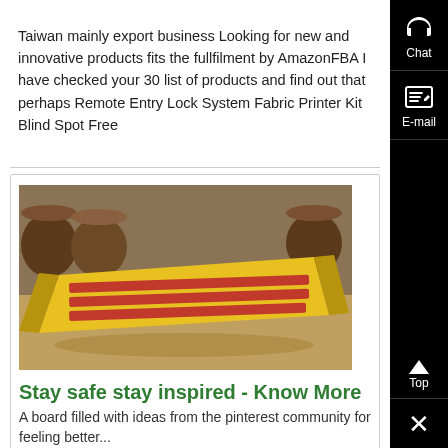Taiwan mainly export business Looking for new and innovative products fits the fullfilment by AmazonFBA I have checked your 30 list of products and find out that perhaps Remote Entry Lock System Fabric Printer Kit Blind Spot Free
[Figure (photo): Yellow and red industrial flat tray or container on a warehouse floor with brown barrels in background]
Stay safe stay inspired - Know More
A board filled with ideas from the pinterest community for feeling better...
[Figure (photo): Large truck-mounted machinery or equipment parked near a building]
used machinery, suppliers, second hand machines - Know More